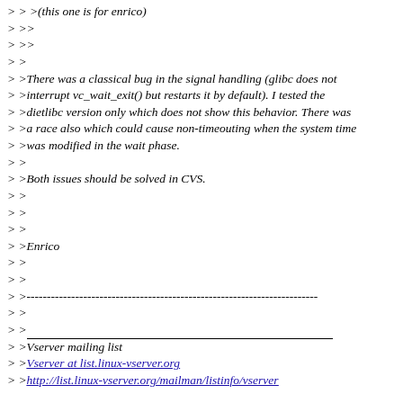>>>(this one is for enrico)
>>
>>
>>
>>There was a classical bug in the signal handling (glibc does not
>>interrupt vc_wait_exit() but restarts it by default). I tested the
>>dietlibc version only which does not show this behavior. There was
>>a race also which could cause non-timeouting when the system time
>>was modified in the wait phase.
>>
>>Both issues should be solved in CVS.
>>
>>
>>
>>Enrico
>>
>>
>>------------------------------------------------------------------------
>>
>>
>>Vserver mailing list
>>Vserver at list.linux-vserver.org
>>http://list.linux-vserver.org/mailman/listinfo/vserver